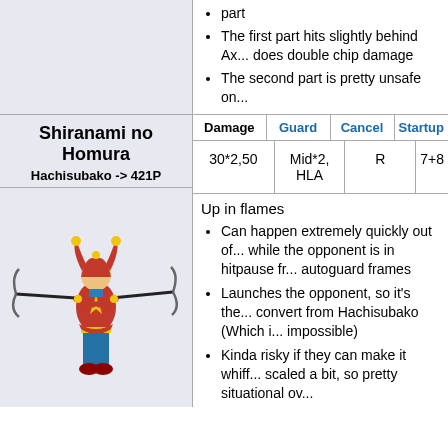part
The first part hits slightly behind Ax... does double chip damage
The second part is pretty unsafe on...
Shiranami no Homura
Hachisubako -> 421P
| Damage | Guard | Cancel | Startup |
| --- | --- | --- | --- |
| 30*2,50 | Mid*2, HLA | R | 7+8 |
Up in flames
Can happen extremely quickly out of... while the opponent is in hitpause fr... autoguard frames
Launches the opponent, so it's the... convert from Hachisubako (Which i... impossible)
Kinda risky if they can make it whiff... scaled a bit, so pretty situational ov...